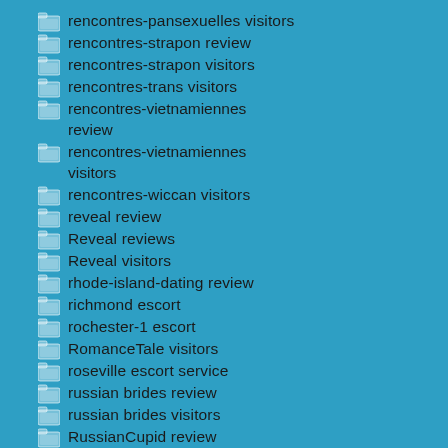rencontres-pansexuelles visitors
rencontres-strapon review
rencontres-strapon visitors
rencontres-trans visitors
rencontres-vietnamiennes review
rencontres-vietnamiennes visitors
rencontres-wiccan visitors
reveal review
Reveal reviews
Reveal visitors
rhode-island-dating review
richmond escort
rochester-1 escort
RomanceTale visitors
roseville escort service
russian brides review
russian brides visitors
RussianCupid review
russiancupid reviews
RussianCupid visitors
sacramento escort